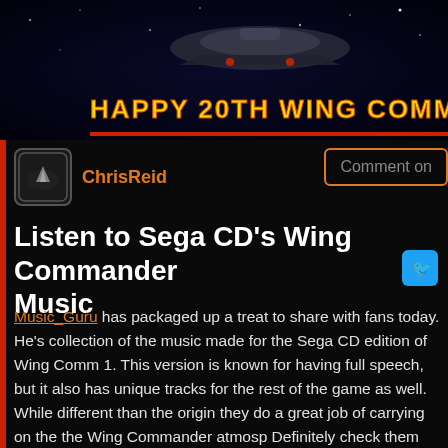[Figure (photo): Banner image showing a spaceship against a starry background with text 'HAPPY 20TH WING COMMANDER C' in yellow bold letters]
ChrisReid
Comment on
Listen to Sega CD's Wing Commander Music
Music_Guru has packaged up a treat to share with fans today. He's collection of the music made for the Sega CD edition of Wing Comm 1. This version is known for having full speech, but it also has unique tracks for the rest of the game as well. While different than the origin they do a great job of carrying on the the Wing Commander atmosp Definitely check them out! Grab the MP3 pack (53 meg zip) for easy listening or the VGM files (1.5 meg zip) for a more authentic feel. Music_Guru recommends VGMPlay, but there are winamp plugins a other resources out there as well. For a quick sample, watch the You link below, but then go back to add the mp3s to your collection!